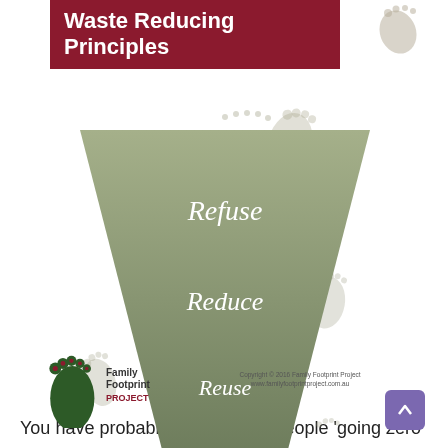Waste Reducing Principles
[Figure (infographic): Inverted triangle/pyramid diagram showing waste reducing principles from top (widest) to bottom (narrowest): Refuse, Reduce, Reuse, Rot, Recycle, Landfill. The triangle transitions from light olive green at top to darker green in middle to dark pink/red at the bottom tip. Decorative footprint shapes appear around the diagram.]
[Figure (logo): Family Footprint Project logo with a green footprint icon and text 'Family Footprint PROJECT']
Copyright © 2016 Family Footprint Project
www.familyfootprintproject.com.au
You have probably heard about people 'going zero